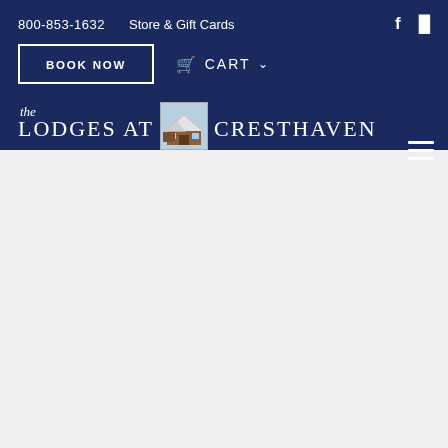800-853-1632   Store & Gift Cards
BOOK NOW
CART
the LODGES AT CRESTHAVEN
[Figure (logo): Small illustrated logo of a lodge/cabin in winter with snow on roof, set against a light blue sky background]